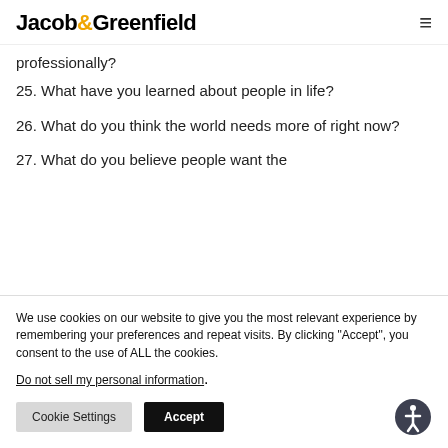Jacob&Greenfield
professionally?
25. What have you learned about people in life?
26. What do you think the world needs more of right now?
27. What do you believe people want the
We use cookies on our website to give you the most relevant experience by remembering your preferences and repeat visits. By clicking “Accept”, you consent to the use of ALL the cookies.
Do not sell my personal information.